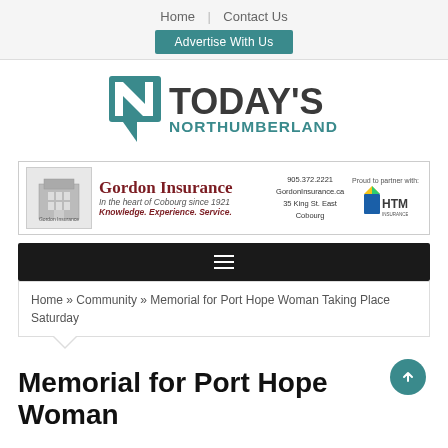Home | Contact Us
Advertise With Us
[Figure (logo): Today's Northumberland logo — teal speech bubble icon with bold text TODAY'S NORTHUMBERLAND]
[Figure (illustration): Gordon Insurance advertisement banner — Gordon Insurance, In the heart of Cobourg since 1921, Knowledge. Experience. Service. Phone 905.372.2221, GordonInsurance.ca, 35 King St. East, Cobourg. Proud to partner with HTM Insurance Company.]
Home » Community » Memorial for Port Hope Woman Taking Place Saturday
Memorial for Port Hope Woman